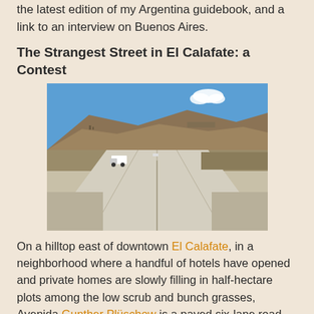the latest edition of my Argentina guidebook, and a link to an interview on Buenos Aires.
The Strangest Street in El Calafate: a Contest
[Figure (photo): Wide paved six-lane road extending into the distance on a hilltop, with arid scrubland and mountains in the background under a blue sky. A white truck is visible on the left side of the road.]
On a hilltop east of downtown El Calafate, in a neighborhood where a handful of hotels have opened and private homes are slowly filling in half-hectare plots among the low scrub and bunch grasses, Avenida Gunther Plüschow is a paved six-lane road that extends nearly two km but gets very little traffic. At this exposed site, the wind blows ferociously and can become tiresome, but its few residents put up with it for the views, and for the relatively low land prices.